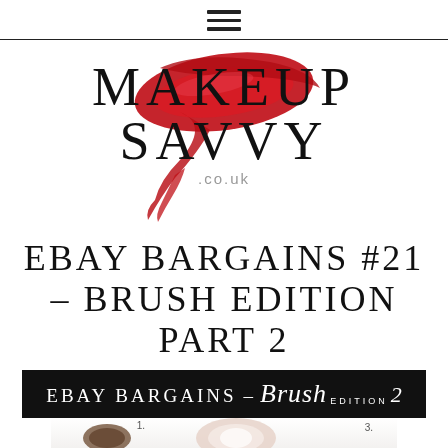☰ (hamburger menu icon)
[Figure (logo): Makeup Savvy .co.uk logo with red lipstick smear decoration behind the text]
EBAY BARGAINS #21 – BRUSH EDITION PART 2
[Figure (infographic): Black banner reading 'EBAY BARGAINS - Brush EDITION 2' followed by makeup brush product images with numbered labels 1. and 3.]